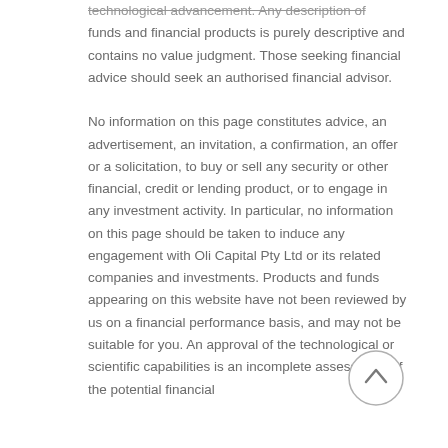technological advancement. Any description of funds and financial products is purely descriptive and contains no value judgment. Those seeking financial advice should seek an authorised financial advisor.
No information on this page constitutes advice, an advertisement, an invitation, a confirmation, an offer or a solicitation, to buy or sell any security or other financial, credit or lending product, or to engage in any investment activity. In particular, no information on this page should be taken to induce any engagement with Oli Capital Pty Ltd or its related companies and investments. Products and funds appearing on this website have not been reviewed by us on a financial performance basis, and may not be suitable for you. An approval of the technological or scientific capabilities is an incomplete assessment of the potential financial
[Figure (other): A circular back-to-top scroll button with an upward chevron arrow inside, located in the bottom-right area of the page.]